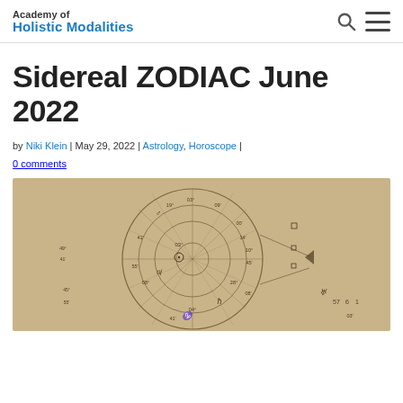Academy of Holistic Modalities
Sidereal ZODIAC June 2022
by Niki Klein | May 29, 2022 | Astrology, Horoscope | 0 comments
[Figure (photo): Close-up photograph of a sidereal zodiac astrology chart with planetary symbols, degree markings, and house divisions on aged paper with warm beige/tan coloring.]